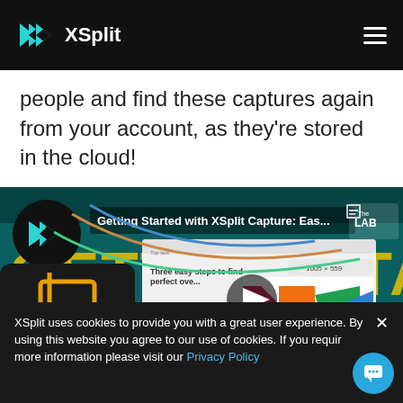XSplit
people and find these captures again from your account, as they’re stored in the cloud!
[Figure (screenshot): Video thumbnail for 'Getting Started with XSplit Capture: Eas...' showing XSplit logo, yellow Getting Started text, a play button overlay, and The LAB logo in the corner. The video preview shows a screen capture interface with colorful graphics.]
XSplit uses cookies to provide you with a great user experience. By using this website you agree to our use of cookies. If you require more information please visit our Privacy Policy